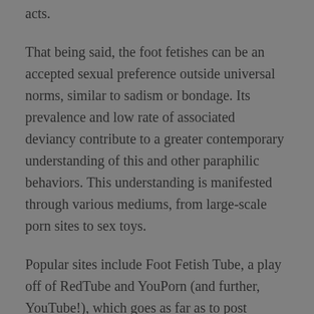acts.
That being said, the foot fetishes can be an accepted sexual preference outside universal norms, similar to sadism or bondage. Its prevalence and low rate of associated deviancy contribute to a greater contemporary understanding of this and other paraphilic behaviors. This understanding is manifested through various mediums, from large-scale porn sites to sex toys.
Popular sites include Foot Fetish Tube, a play off of RedTube and YouPorn (and further, YouTube!), which goes as far as to post podophilic events like “Footnight” or the “Foot Worship Party.” Sex toys include the Vagina Foot, a $35 jelly foot with a faux vaginal opening on its foot bed; Little Piggies, $60 latex-free fake feet (cut off at the ankle) for footjob-esque masturbatory play; and the